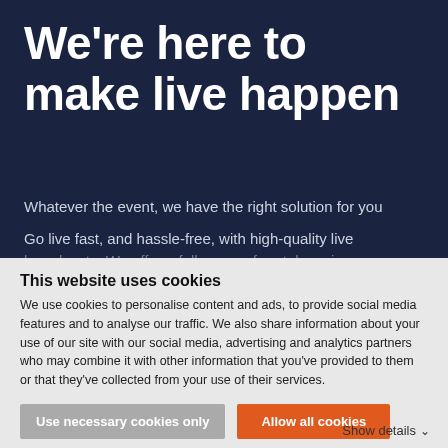We're here to make live happen
Whatever the event, we have the right solution for you
Go live fast, and hassle-free, with high-quality live broadcasts. We offer a full range of rental services
This website uses cookies
We use cookies to personalise content and ads, to provide social media features and to analyse our traffic. We also share information about your use of our site with our social media, advertising and analytics partners who may combine it with other information that you've provided to them or that they've collected from your use of their services.
Use necessary cookies only
Allow all cookies
Show details